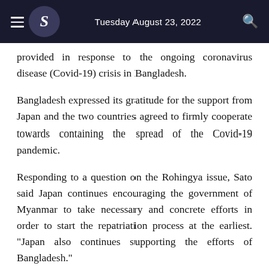Tuesday August 23, 2022
provided in response to the ongoing coronavirus disease (Covid-19) crisis in Bangladesh.
Bangladesh expressed its gratitude for the support from Japan and the two countries agreed to firmly cooperate towards containing the spread of the Covid-19 pandemic.
Responding to a question on the Rohingya issue, Sato said Japan continues encouraging the government of Myanmar to take necessary and concrete efforts in order to start the repatriation process at the earliest. "Japan also continues supporting the efforts of Bangladesh."